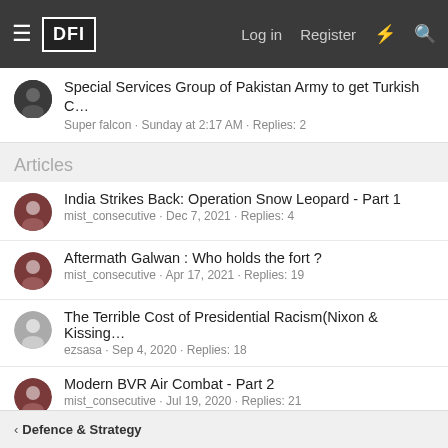DFI — Log in · Register
Special Services Group of Pakistan Army to get Turkish C… — Super falcon · Sunday at 2:17 AM · Replies: 2
Articles
India Strikes Back: Operation Snow Leopard - Part 1 — mist_consecutive · Dec 7, 2021 · Replies: 4
Aftermath Galwan : Who holds the fort ? — mist_consecutive · Apr 17, 2021 · Replies: 19
The Terrible Cost of Presidential Racism(Nixon & Kissing… — ezsasa · Sep 4, 2020 · Replies: 18
Modern BVR Air Combat - Part 2 — mist_consecutive · Jul 19, 2020 · Replies: 21
Civil & Military Bureaucracy and related discussions — daya · Jun 14, 2020 · Replies: 32
< Defence & Strategy